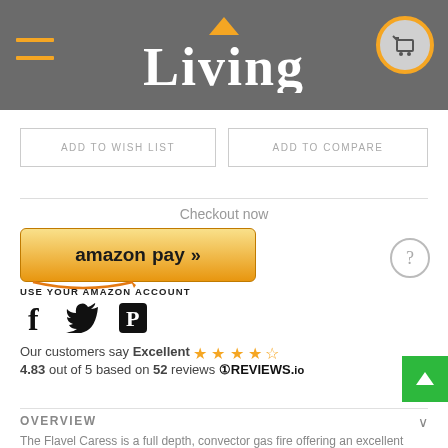[Figure (screenshot): Website header with hamburger menu icon on left, 'Living' logo in center with orange triangle/roof accent, shopping cart icon on right]
ADD TO WISH LIST
ADD TO COMPARE
Checkout now
[Figure (logo): Amazon Pay button with golden gradient background, amazon smile logo, double chevron arrows, and text 'USE YOUR AMAZON ACCOUNT']
[Figure (infographic): Social media icons: Facebook (f), Twitter (bird), Pinterest (P)]
Our customers say Excellent ★★★★★
4.83 out of 5 based on 52 reviews
[Figure (logo): REVIEWS.io logo with circular badge icon]
OVERVIEW
The Flavel Caress is a full depth, convector gas fire offering an excellent maximum heat output of 3.7kW with a